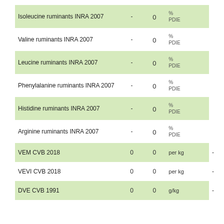|  |  |  |  |  |
| --- | --- | --- | --- | --- |
| Isoleucine ruminants INRA 2007 | - | 0 | % PDIE |  |
| Valine ruminants INRA 2007 | - | 0 | % PDIE |  |
| Leucine ruminants INRA 2007 | - | 0 | % PDIE |  |
| Phenylalanine ruminants INRA 2007 | - | 0 | % PDIE |  |
| Histidine ruminants INRA 2007 | - | 0 | % PDIE |  |
| Arginine ruminants INRA 2007 | - | 0 | % PDIE |  |
| VEM CVB 2018 | 0 | 0 | per kg | - |
| VEVI CVB 2018 | 0 | 0 | per kg | - |
| DVE CVB 1991 | 0 | 0 | g/kg | - |